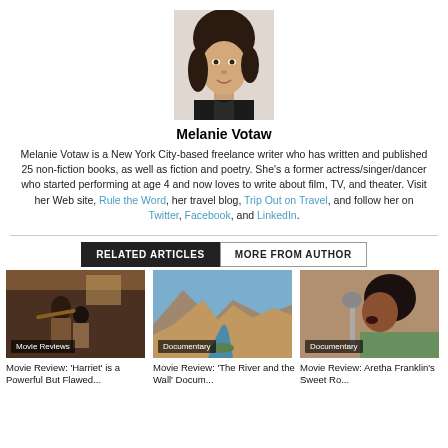[Figure (photo): Headshot photo of Melanie Votaw, a woman with dark hair smiling]
Melanie Votaw
Melanie Votaw is a New York City-based freelance writer who has written and published 25 non-fiction books, as well as fiction and poetry. She's a former actress/singer/dancer who started performing at age 4 and now loves to write about film, TV, and theater. Visit her Web site, Rule the Word, her travel blog, Trip Out on Travel, and follow her on Twitter, Facebook, and LinkedIn.
RELATED ARTICLES | MORE FROM AUTHOR
[Figure (photo): Movie still from Harriet showing two figures in period clothing indoors]
Movie Reviews
Movie Review: 'Harriet' is a Powerful But Flawed...
[Figure (photo): Aerial landscape photo of a river running through a canyon]
Documentary
Movie Review: 'The River and the Wall' Docum...
[Figure (photo): Photo of Aretha Franklin singing into a microphone]
Documentary
Movie Review: Aretha Franklin's Sweet Ro...